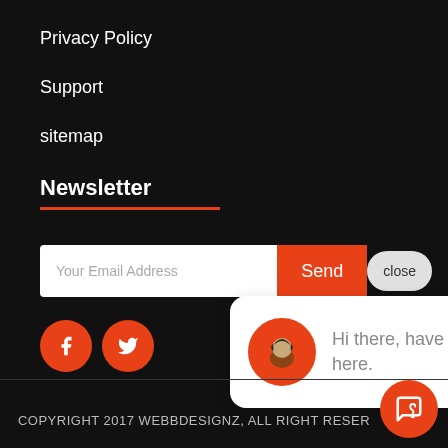Privacy Policy
Support
sitemap
Newsletter
Your Email Address | Send | close
[Figure (screenshot): Chat bubble popup with avatar showing: Hi there, have a question? Text us here.]
[Figure (infographic): Facebook and Twitter social media icon circles in orange]
COPYRIGHT 2017 WEBBDESIGNZ, ALL RIGHT RESERVED